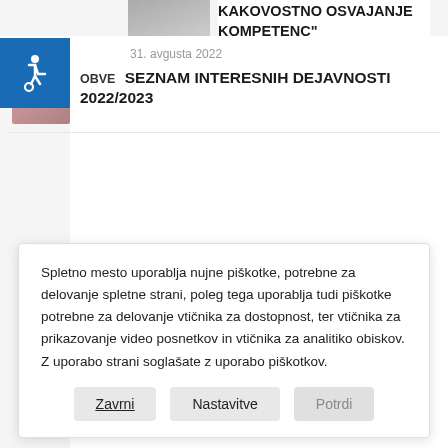[Figure (photo): Partial thumbnail image at top of page]
KAKOVOSTNO OSVAJANJE KOMPETENC"
[Figure (logo): Accessibility widget icon (wheelchair symbol) in blue square]
31. avgusta 2022
[Figure (photo): Small circular/square article thumbnail image]
OBVE   SEZNAM INTERESNIH DEJAVNOSTI 2022/2023
Spletno mesto uporablja nujne piškotke, potrebne za delovanje spletne strani, poleg tega uporablja tudi piškotke potrebne za delovanje vtičnika za dostopnost, ter vtičnika za prikazovanje video posnetkov in vtičnika za analitiko obiskov. Z uporabo strani soglašate z uporabo piškotkov.